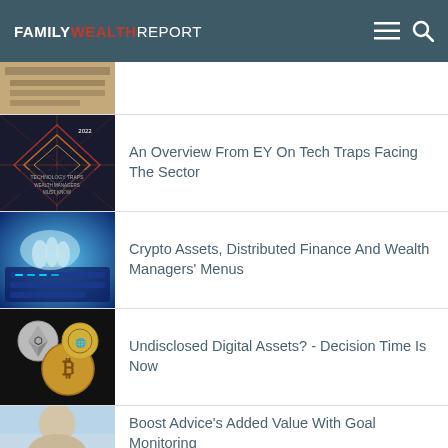FAMILY WEALTH REPORT
[Figure (photo): Partial article thumbnail at top, cropped classical building/ornate frame image]
[Figure (photo): EY Technology report cover with geometric pattern lines in blue, orange, red - 2022 report]
An Overview From EY On Tech Traps Facing The Sector
[Figure (photo): Hand typing on illuminated blue keyboard with digital network overlay]
Crypto Assets, Distributed Finance And Wealth Managers' Menus
[Figure (photo): Gold and silver cryptocurrency coins including Ethereum and Bitcoin on dark background]
Undisclosed Digital Assets? - Decision Time Is Now
[Figure (photo): Partial portrait of older man with grey hair on light blue sky background]
Boost Advice's Added Value With Goal Monitoring